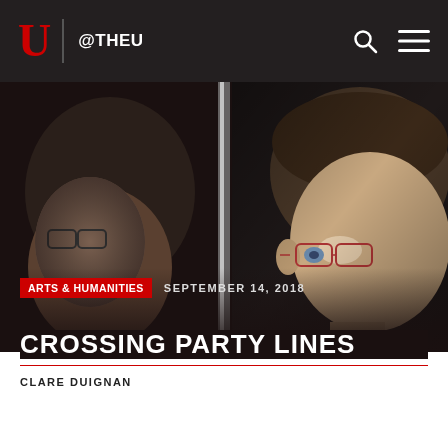@THEU
[Figure (photo): Two portrait-style photographs of individuals, side by side against a dark background with a vertical light divider between them. Left figure shows a person wearing glasses facing left. Right figure shows a bespectacled person facing right.]
ARTS & HUMANITIES   SEPTEMBER 14, 2018
CROSSING PARTY LINES
CLARE DUIGNAN